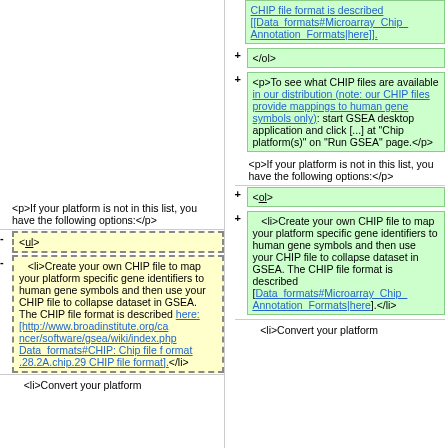[Figure (screenshot): Diff view of wiki markup showing two columns: left (old) and right (new). Right column shows green highlighted added lines with wiki markup for CHIP file format descriptions. Left column shows yellow dotted border removed lines with wiki markup list items about creating CHIP files.]
<p>If your platform is not in this list, you have the following options:</p>
<p>If your platform is not in this list, you have the following options:</p>
<ul>
<ol>
<li>Create your own CHIP file to map your platform specific gene identifiers to human gene symbols and then use your CHIP file to collapse dataset in GSEA. The CHIP file format is described here: [http://www.broadinstitute.org/cancer/software/gsea/wiki/index.php Data_formats#CHIP: Chip file format .28.2A.chip.29 CHIP file format].</li>
<li>Create your own CHIP file to map your platform specific gene identifiers to human gene symbols and then use your CHIP file to collapse dataset in GSEA. The CHIP file format is described [Data_formats#Microarray_Chip_Annotation_Formats|here].</li>
<li>Convert your platform
<li>Convert your platform